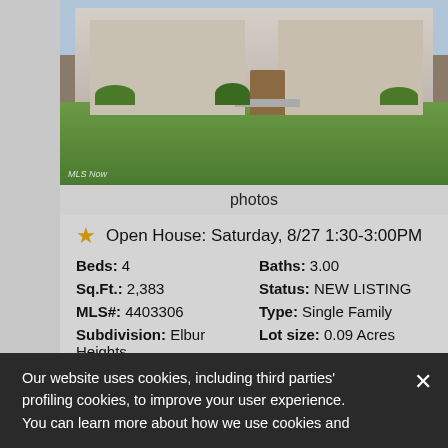[Figure (photo): Exterior photo of a residential house with green lawn and landscaping, MLS Now watermark in lower left corner]
photos
Open House: Saturday, 8/27 1:30-3:00PM
Beds: 4   Baths: 3.00
Sq.Ft.: 2,383   Status: NEW LISTING
MLS#: 4403306   Type: Single Family
Subdivision: Elbur Heights   Lot size: 0.09 Acres
Year built: 1924
View Details
Contact: Inquire About This Property, chris@chrisbergin.com, (216) 244-7175
Our website uses cookies, including third parties' profiling cookies, to improve your user experience. You can learn more about how we use cookies and